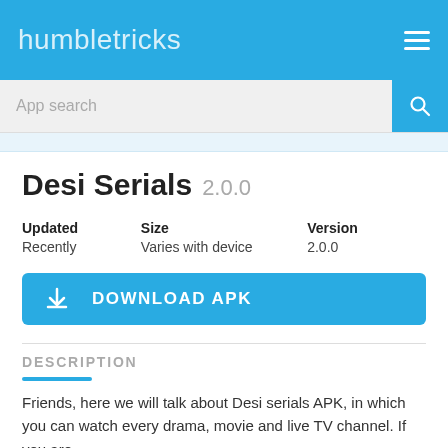humbletricks
App search
Desi Serials 2.0.0
| Updated | Size | Version |
| --- | --- | --- |
| Recently | Varies with device | 2.0.0 |
DOWNLOAD APK
DESCRIPTION
Friends, here we will talk about Desi serials APK, in which you can watch every drama, movie and live TV channel. If you are